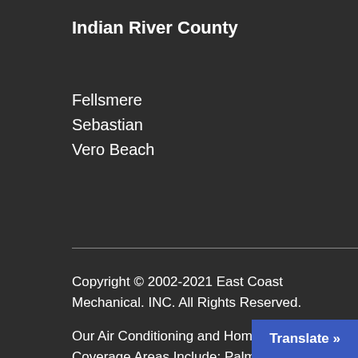Indian River County
Fellsmere
Sebastian
Vero Beach
Copyright © 2002-2021 East Coast Mechanical. INC. All Rights Reserved.
Our Air Conditioning and Home Services Coverage Areas Include: Palm Beach County, Broward County, Martin Co
Translate »